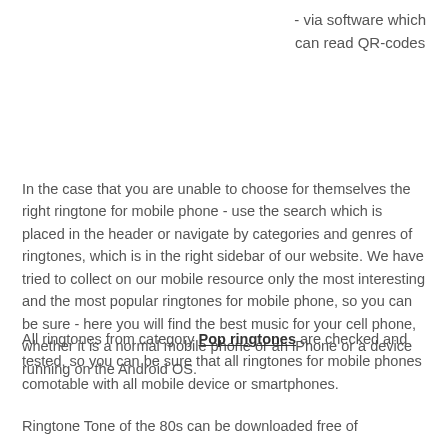- via software which can read QR-codes
In the case that you are unable to choose for themselves the right ringtone for mobile phone - use the search which is placed in the header or navigate by categories and genres of ringtones, which is in the right sidebar of our website. We have tried to collect on our mobile resource only the most interesting and the most popular ringtones for mobile phone, so you can be sure - here you will find the best music for your cell phone, whether it is a normal mobile phone or an iPhone or a device running on the Android OS.
All ringtones from category Pop ringtones are checked and tested, so you can be sure that all ringtones for mobile phones comotable with all mobile device or smartphones.
Ringtone Tone of the 80s can be downloaded free of